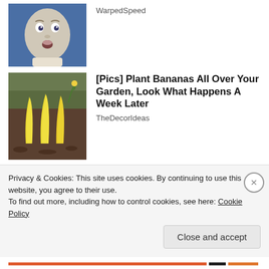[Figure (photo): Baby face with surprised expression on blue background (WarpedSpeed article thumbnail)]
WarpedSpeed
[Figure (photo): Bananas planted upright in garden soil (TheDecorIdeas article thumbnail)]
[Pics] Plant Bananas All Over Your Garden, Look What Happens A Week Later
TheDecorIdeas
Share this:
Twitter
Facebook
Like
Privacy & Cookies: This site uses cookies. By continuing to use this website, you agree to their use.
To find out more, including how to control cookies, see here: Cookie Policy
Close and accept